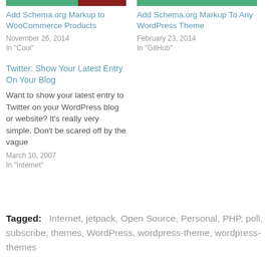[Figure (other): Thumbnail image strip for 'Add Schema.org Markup to WooCommerce Products' — green and dark red bar]
Add Schema.org Markup to WooCommerce Products
November 26, 2014
In "Cool"
[Figure (other): Thumbnail image strip for 'Add Schema.org Markup To Any WordPress Theme' — green bar]
Add Schema.org Markup To Any WordPress Theme
February 23, 2014
In "GitHub"
Twitter: Show Your Latest Entry On Your Blog
Want to show your latest entry to Twitter on your WordPress blog or website? It's really very simple. Don't be scared off by the vague
March 10, 2007
In "Internet"
Tagged:   Internet,  jetpack,  Open Source,  Personal,  PHP,  poll,  subscribe,  themes,  WordPress,  wordpress-theme,  wordpress-themes